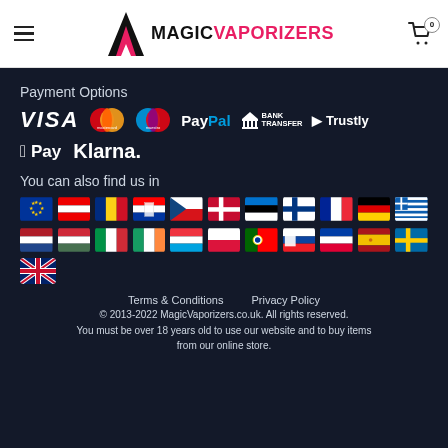Magic Vaporizers
Payment Options
[Figure (infographic): Payment method logos: VISA, Mastercard, Maestro, PayPal, Bank Transfer, Trustly, Apple Pay, Klarna]
You can also find us in
[Figure (infographic): Country flags: EU, Austria, Romania, Croatia, Czech Republic, Denmark, Estonia, Finland, France, Germany, Greece, Netherlands, Hungary, Italy, Ireland, Luxembourg, Poland, Portugal, Slovakia, Slovenia, Spain, Sweden, United Kingdom]
Terms & Conditions    Privacy Policy
© 2013-2022 MagicVaporizers.co.uk. All rights reserved.
You must be over 18 years old to use our website and to buy items from our online store.